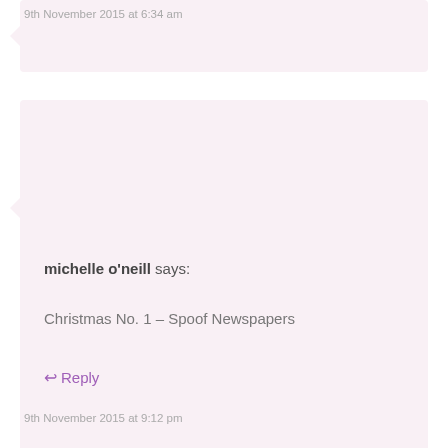9th November 2015 at 6:34 am
michelle o'neill says:
Christmas No. 1 – Spoof Newspapers
↩ Reply
9th November 2015 at 9:12 pm